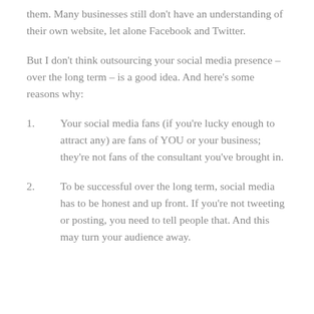them. Many businesses still don't have an understanding of their own website, let alone Facebook and Twitter.
But I don't think outsourcing your social media presence – over the long term – is a good idea. And here's some reasons why:
Your social media fans (if you're lucky enough to attract any) are fans of YOU or your business; they're not fans of the consultant you've brought in.
To be successful over the long term, social media has to be honest and up front. If you're not tweeting or posting, you need to tell people that. And this may turn your audience away.